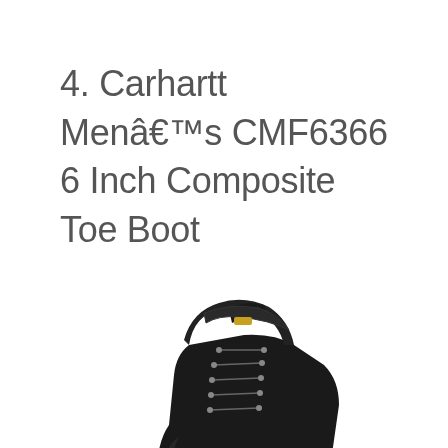4. Carhartt Menâ€™s CMF6366 6 Inch Composite Toe Boot
[Figure (photo): A black Carhartt CMF6366 6-inch composite toe work boot shown from the side. The boot is black leather with black laces, metal eyelets, a padded collar, and a Carhartt logo on the heel area.]